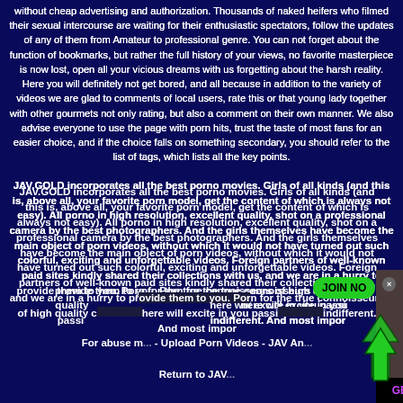without cheap advertising and authorization. Thousands of naked heifers who filmed their sexual intercourse are waiting for their enthusiastic spectators, follow the updates of any of them from Amateur to professional genre. You can not forget about the function of bookmarks, but rather the full history of your views, no favorite masterpiece is now lost, open all your vicious dreams with us forgetting about the harsh reality. Here you will definitely not get bored, and all because in addition to the variety of videos we are glad to comments of local users, rate this or that young lady together with other gourmets not only rating, but also a comment on their own manner. We also advise everyone to use the page with porn hits, trust the taste of most fans for an easier choice, and if the choice falls on something secondary, you should refer to the list of tags, which lists all the key points.
JAV.GOLD incorporates all the best porno movies. Girls of all kinds (and this is, above all, your favorite porn model, get the content of which is always not easy). All porno in high resolution, excellent quality, shot on a professional camera by the best photographers. And the girls themselves have become the main object of porn videos, without which it would not have turned out such colorful, exciting and unforgettable videos. Foreign partners of well-known paid sites kindly shared their collections with us, and we are in a hurry to provide them to you. Porn for the true connoisseurs of high quality content, which is here will excite in you passion indifferent. And most importantly...
For abuse m... - Upload Porn Videos - JAV An...
Return to JAV...
[Figure (photo): Overlay advertisement showing a woman photo with JOIN NOW green button, close button, upward green arrows, and bottom bar reading GET 10 TOKENS FOR FREE]